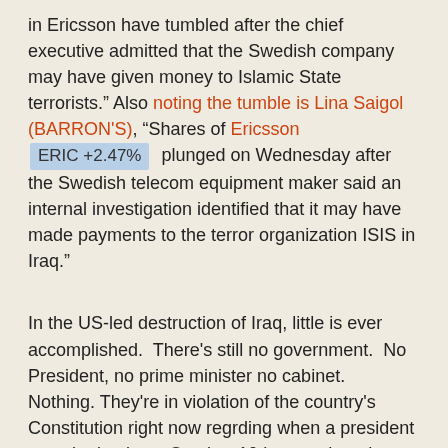in Ericsson have tumbled after the chief executive admitted that the Swedish company may have given money to Islamic State terrorists." Also noting the tumble is Lina Saigol (BARRON'S), "Shares of Ericsson ERIC +2.47% plunged on Wednesday after the Swedish telecom equipment maker said an internal investigation identified that it may have made payments to the terror organization ISIS in Iraq."
In the US-led destruction of Iraq, little is ever accomplished. There's still no government. No President, no prime minister no cabinet. Nothing. They're in violation of the country's Constitution right now regrding when a president must be in place. October 10th was when they held elections. All this time later, nothing.